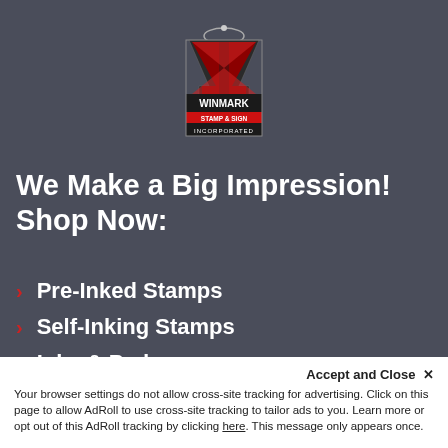[Figure (logo): Winmark Stamp & Sign Incorporated logo — stylized hourglass/shield shape in red and black with company name]
We Make a Big Impression! Shop Now:
Pre-Inked Stamps
Self-Inking Stamps
Inks & Pads
Safety Signs
Office Signs
Accept and Close ×
Your browser settings do not allow cross-site tracking for advertising. Click on this page to allow AdRoll to use cross-site tracking to tailor ads to you. Learn more or opt out of this AdRoll tracking by clicking here. This message only appears once.